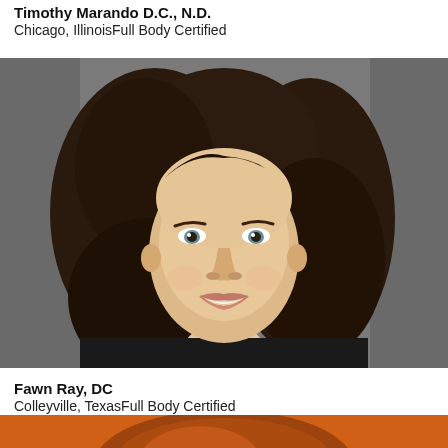Timothy Marando D.C., N.D.
Chicago, IllinoisFull Body Certified
[Figure (photo): Professional headshot of a woman with long curly brown hair, smiling, wearing a dark top with a white collar, against a gray background. This is Fawn Ray, DC.]
Fawn Ray, DC
Colleyville, TexasFull Body Certified
[Figure (photo): Partial photo at the bottom of the page showing the top of a person's head with reddish-brown hair against an orange background.]